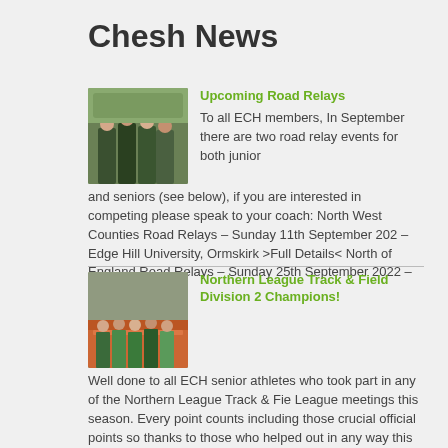Chesh News
[Figure (photo): Group of people in running/sports gear outdoors near trees]
Upcoming Road Relays
To all ECH members, In September there are two road relay events for both junior and seniors (see below), if you are interested in competing please speak to your coach: North West Counties Road Relays – Sunday 11th September 2022 – Edge Hill University, Ormskirk >Full Details< North of England Road Relays – Sunday 25th September 2022 – Sport City, ..
[Figure (photo): Athletes on a running track, group photo]
Northern League Track & Field Division 2 Champions!
Well done to all ECH senior athletes who took part in any of the Northern League Track & Field League meetings this season. Every point counts including those crucial official points so thanks to those who helped out in any way this season. After all 4 meetings ECH were good enough to win Divisic